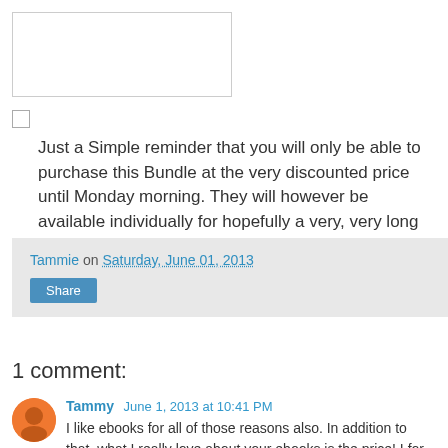[Figure (other): Empty white input/text box with border]
Just a Simple reminder that you will only be able to purchase this Bundle at the very discounted price until Monday morning. They will however be available individually for hopefully a very, very long time!
Tammie on Saturday, June 01, 2013
Share
1 comment:
Tammy June 1, 2013 at 10:41 PM
I like ebooks for all of those reasons also. In addition to that, what I really love about your ebooks is the price! I for